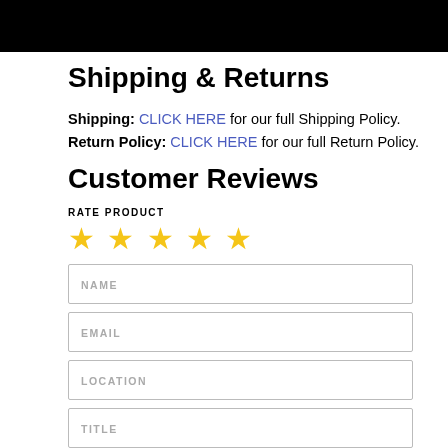Shipping & Returns
Shipping: CLICK HERE for our full Shipping Policy. Return Policy: CLICK HERE for our full Return Policy.
Customer Reviews
RATE PRODUCT
[Figure (other): Five gold star rating icons]
NAME
EMAIL
LOCATION
TITLE